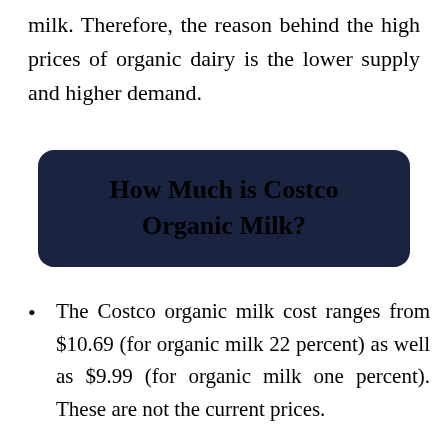milk. Therefore, the reason behind the high prices of organic dairy is the lower supply and higher demand.
How Much is Costco Organic Milk?
The Costco organic milk cost ranges from $10.69 (for organic milk 22 percent) as well as $9.99 (for organic milk one percent). These are not the current prices.